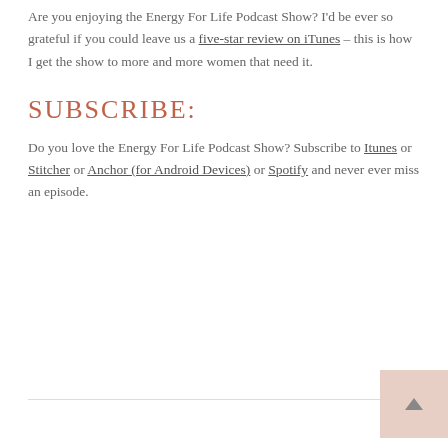Are you enjoying the Energy For Life Podcast Show? I'd be ever so grateful if you could leave us a five-star review on iTunes – this is how I get the show to more and more women that need it.
SUBSCRIBE:
Do you love the Energy For Life Podcast Show? Subscribe to Itunes or Stitcher or Anchor (for Android Devices) or Spotify and never ever miss an episode.